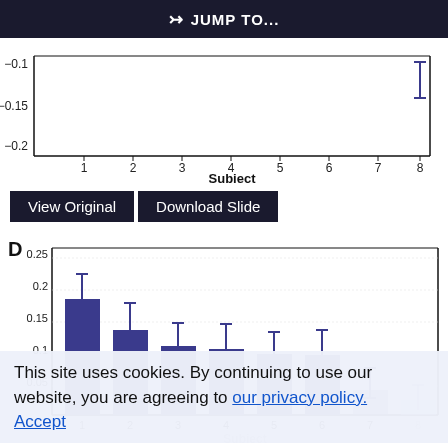⇒ JUMP TO...
[Figure (bar-chart): Partial bar chart showing y-axis from -0.2 to -0.1 and x-axis Subject 1-8. Only a single bar/error bar visible near Subject 8.]
View Original   Download Slide
[Figure (bar-chart): D - Slope bar chart]
This site uses cookies. By continuing to use our website, you are agreeing to our privacy policy. Accept